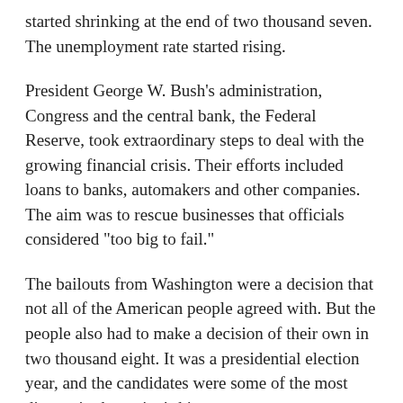started shrinking at the end of two thousand seven. The unemployment rate started rising.
President George W. Bush's administration, Congress and the central bank, the Federal Reserve, took extraordinary steps to deal with the growing financial crisis. Their efforts included loans to banks, automakers and other companies. The aim was to rescue businesses that officials considered "too big to fail."
The bailouts from Washington were a decision that not all of the American people agreed with. But the people also had to make a decision of their own in two thousand eight. It was a presidential election year, and the candidates were some of the most diverse in the nation's history.
The Republican Party nomination choice, Senator John